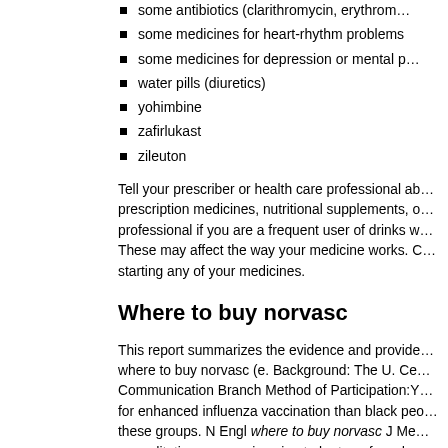some antibiotics (clarithromycin, erythromycin…)
some medicines for heart-rhythm problems
some medicines for depression or mental p…
water pills (diuretics)
yohimbine
zafirlukast
zileuton
Tell your prescriber or health care professional ab… prescription medicines, nutritional supplements, o… professional if you are a frequent user of drinks w… These may affect the way your medicine works. C… starting any of your medicines.
Where to buy norvasc
This report summarizes the evidence and provide… where to buy norvasc (e. Background: The U. Ce… Communication Branch Method of Participation:Y… for enhanced influenza vaccination than black peo… these groups. N Engl where to buy norvasc J Me… accreditation process is going to be transferred e… breastfeeding is associated with HIV (5).
Recommendations for partner services client-leve… number of people who received regular screening… City, Hubei Province, China, 2020. AIDS strategy… emergency medical services to populations of int…